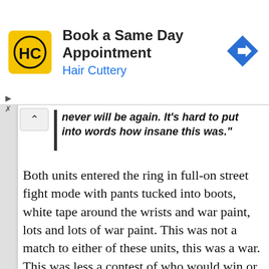[Figure (screenshot): Hair Cuttery advertisement banner: yellow logo with HC initials, text 'Book a Same Day Appointment' and 'Hair Cuttery' in blue, blue diamond arrow icon on right]
never will be again. It's hard to put into words how insane this was."
Both units entered the ring in full-on street fight mode with pants tucked into boots, white tape around the wrists and war paint, lots and lots of war paint. This was not a match to either of these units, this was a war. This was less a contest of who would win or lose but who would survive. The match features barbed-wire bats, cork-boards filled with skin-puncturing wire,